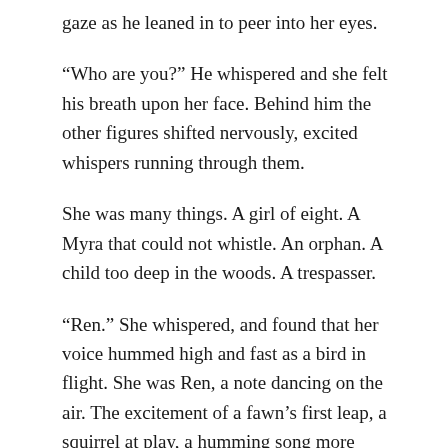gaze as he leaned in to peer into her eyes.
“Who are you?” He whispered and she felt his breath upon her face. Behind him the other figures shifted nervously, excited whispers running through them.
She was many things. A girl of eight. A Myra that could not whistle. An orphan. A child too deep in the woods. A trespasser.
“Ren.” She whispered, and found that her voice hummed high and fast as a bird in flight. She was Ren, a note dancing on the air. The excitement of a fawn’s first leap, a squirrel at play, a humming song more joyful than her whistle could ever have been.
“Ren.” He said and she recognised the sound. The h…